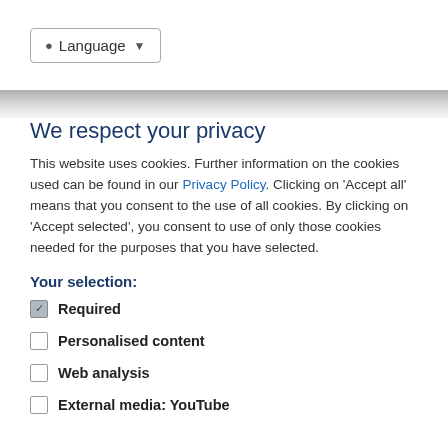Language
We respect your privacy
This website uses cookies. Further information on the cookies used can be found in our Privacy Policy. Clicking on 'Accept all' means that you consent to the use of all cookies. By clicking on 'Accept selected', you consent to use of only those cookies needed for the purposes that you have selected.
Your selection:
Required
Personalised content
Web analysis
External media: YouTube